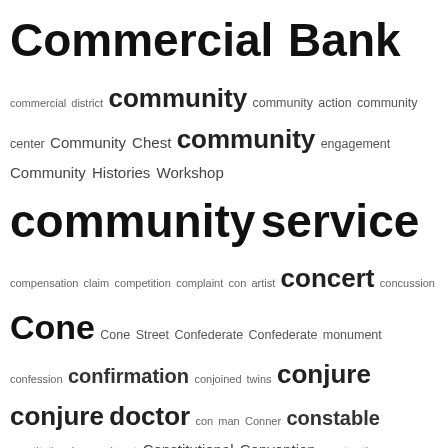[Figure (infographic): Tag cloud of historical/archival index terms beginning with 'com-' through 'cr-', with font size indicating frequency or importance. Terms range from small (rare) to very large (frequent): 'community service', 'coroner's inquest', 'county extension agent', 'court actions', 'Coward Cox', 'Crawford Creech', 'crime', etc.]